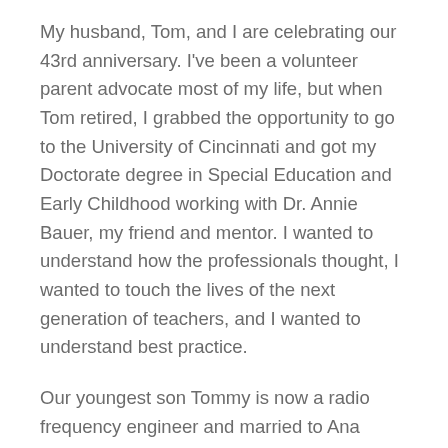My husband, Tom, and I are celebrating our 43rd anniversary. I've been a volunteer parent advocate most of my life, but when Tom retired, I grabbed the opportunity to go to the University of Cincinnati and got my Doctorate degree in Special Education and Early Childhood working with Dr. Annie Bauer, my friend and mentor. I wanted to understand how the professionals thought, I wanted to touch the lives of the next generation of teachers, and I wanted to understand best practice.
Our youngest son Tommy is now a radio frequency engineer and married to Ana Paula. We have a beautiful granddaughter. So the circle of life continues. We are blessed.
In the last couple years, I have noticed how the lessons caring for Aaron and vulnerable people also apply to my elderly parents. My dad died at age 84, but my mom is now 89. Now that I am over 60, it is